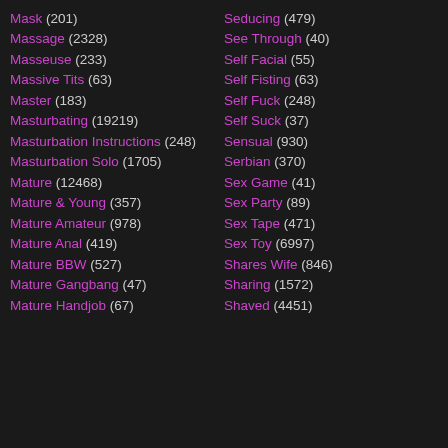Mask (201)
Massage (2328)
Masseuse (233)
Massive Tits (63)
Master (183)
Masturbating (19219)
Masturbation Instructions (248)
Masturbation Solo (1705)
Mature (12468)
Mature & Young (357)
Mature Amateur (978)
Mature Anal (419)
Mature BBW (527)
Mature Gangbang (47)
Mature Handjob (67)
Seducing (479)
See Through (40)
Self Facial (55)
Self Fisting (63)
Self Fuck (248)
Self Suck (37)
Sensual (930)
Serbian (370)
Sex Game (41)
Sex Party (89)
Sex Tape (471)
Sex Toy (6997)
Shares Wife (846)
Sharing (1572)
Shaved (4451)